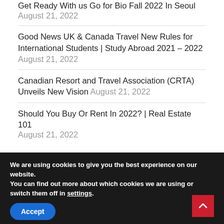Get Ready With us Go for Bio Fall 2022 In Seoul August 21, 2022
Good News UK & Canada Travel New Rules for International Students | Study Abroad 2021 – 2022 August 21, 2022
Canadian Resort and Travel Association (CRTA) Unveils New Vision August 21, 2022
Should You Buy Or Rent In 2022? | Real Estate 101 August 21, 2022
We are using cookies to give you the best experience on our website.
You can find out more about which cookies we are using or switch them off in settings.